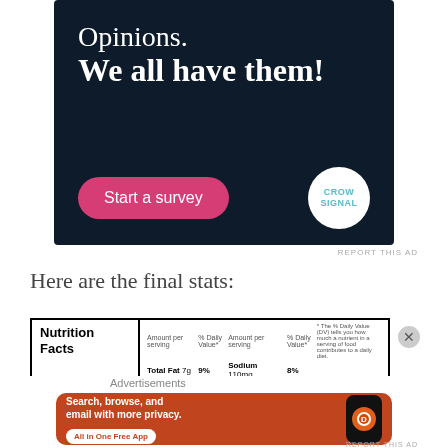[Figure (infographic): Dark navy advertisement banner for CrowdSignal survey platform. Text reads 'Opinions. We all have them!' with a pink 'Start a survey' button and CrowdSignal logo on white circle.]
REPORT THIS AD
Here are the final stats:
[Figure (infographic): Partial nutrition facts label showing: Amount per serving, Total Fat 7g 9%, Saturated Fat 1g 6%, Sodium 110mg 8%, Total Carbohydrate 0g 3%, with % Daily Value disclaimer text.]
Advertisements
[Figure (infographic): Orange DuckDuckGo advertisement banner showing 'Search, browse, and email with more privacy. All in One Free App' with phone image and DuckDuckGo logo.]